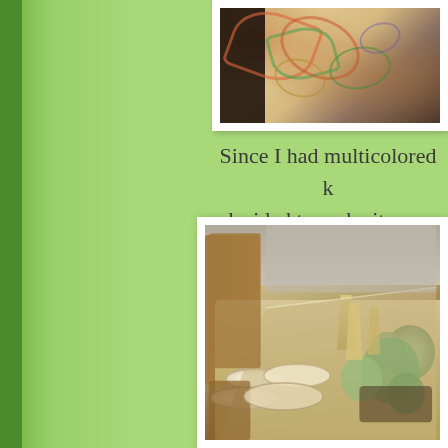[Figure (photo): Partial view of a colorful paisley-patterned item with dark figure on left edge, cropped at top of page]
Since I had multicolored k... decided to make it a mu... table....
[Figure (photo): Thanksgiving/holiday dining table set with plates, gourds/pumpkins as centerpiece decoration, chairs visible, lace tablecloth]